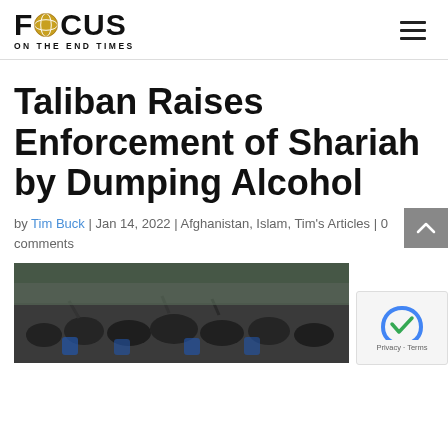FOCUS ON THE END TIMES
Taliban Raises Enforcement of Shariah by Dumping Alcohol
by Tim Buck | Jan 14, 2022 | Afghanistan, Islam, Tim's Articles | 0 comments
[Figure (photo): Crowd of people on motorcycles, appears to be a Taliban gathering or procession]